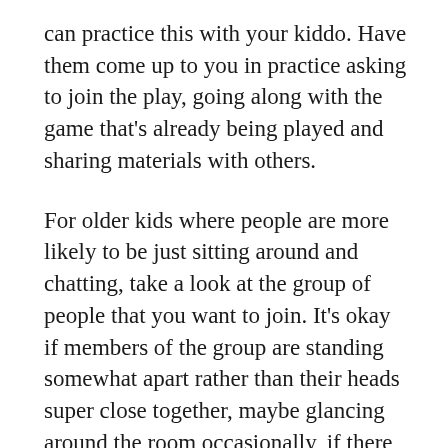can practice this with your kiddo. Have them come up to you in practice asking to join the play, going along with the game that's already being played and sharing materials with others.
For older kids where people are more likely to be just sitting around and chatting, take a look at the group of people that you want to join. It's okay if members of the group are standing somewhat apart rather than their heads super close together, maybe glancing around the room occasionally, if there seems to be pauses in the conversation, if the conversation seems casual, this is probably an open group to join. You can go stand beside the friendliest looking member of the